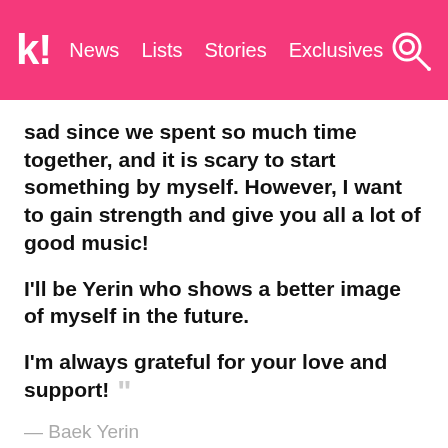k! News Lists Stories Exclusives
sad since we spent so much time together, and it is scary to start something by myself. However, I want to gain strength and give you all a lot of good music!

I'll be Yerin who shows a better image of myself in the future.

I'm always grateful for your love and support!
— Baek Yerin
Just last month, Park Jimin announced she